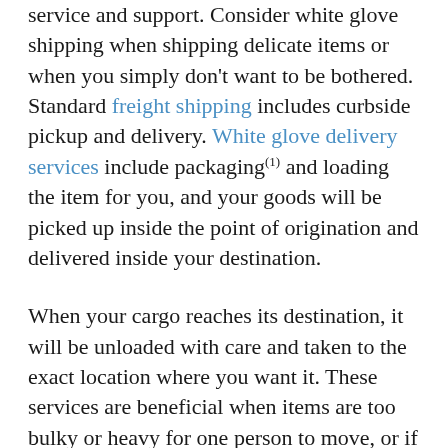service and support. Consider white glove shipping when shipping delicate items or when you simply don't want to be bothered. Standard freight shipping includes curbside pickup and delivery. White glove delivery services include packaging(1) and loading the item for you, and your goods will be picked up inside the point of origination and delivered inside your destination.
When your cargo reaches its destination, it will be unloaded with care and taken to the exact location where you want it. These services are beneficial when items are too bulky or heavy for one person to move, or if you live alone or don't have anyone to help you place your item where you want it.
All packaging materials, blankets, and garbage are